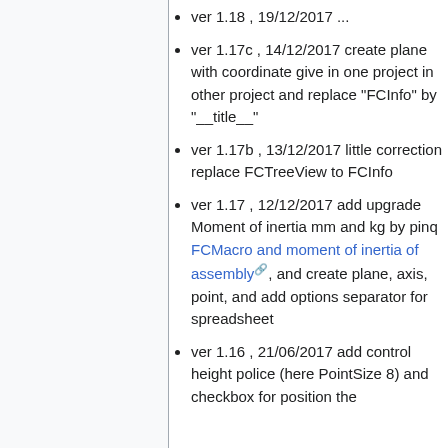ver 1.18 , 19/12/2017 ...
ver 1.17c , 14/12/2017 create plane with coordinate give in one project in other project and replace "FCInfo" by "__title__"
ver 1.17b , 13/12/2017 little correction replace FCTreeView to FCInfo
ver 1.17 , 12/12/2017 add upgrade Moment of inertia mm and kg by pinq FCMacro and moment of inertia of assembly, and create plane, axis, point, and add options separator for spreadsheet
ver 1.16 , 21/06/2017 add control height police (here PointSize 8) and checkbox for position the